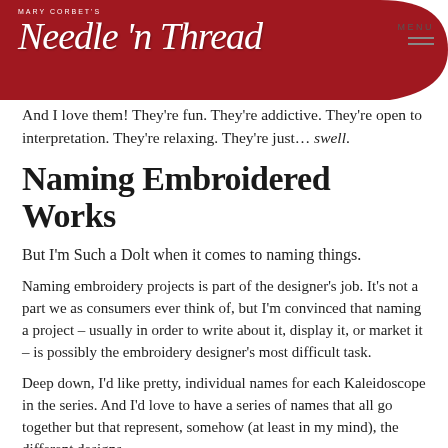Mary Corbet's Needle 'n Thread — MENU
And I love them! They're fun. They're addictive. They're open to interpretation. They're relaxing. They're just… swell.
Naming Embroidered Works
But I'm Such a Dolt when it comes to naming things.
Naming embroidery projects is part of the designer's job. It's not a part we as consumers ever think of, but I'm convinced that naming a project – usually in order to write about it, display it, or market it – is possibly the embroidery designer's most difficult task.
Deep down, I'd like pretty, individual names for each Kaleidoscope in the series. And I'd love to have a series of names that all go together but that represent, somehow (at least in my mind), the different designs.
But, like I said, I'm a dolt when it comes to naming things!